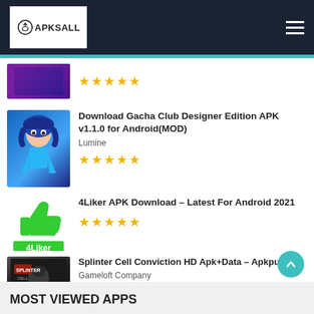APKSALL
Stars: ★★★★★
Download Gacha Club Designer Edition APK v1.1.0 for Android(MOD) — Lumine — ★★★★★
4Liker APK Download – Latest For Android 2021 — ★★★★★
Splinter Cell Conviction HD Apk+Data – Apkpure — Gameloft Company — ★★★★★
MOST VIEWED APPS